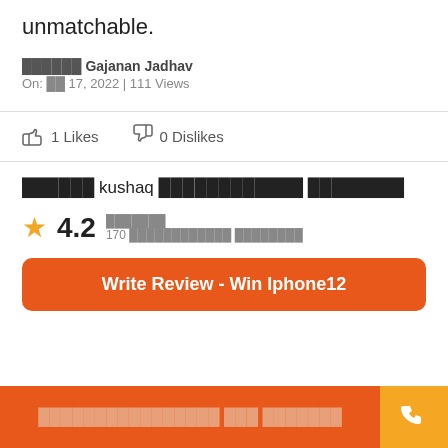unmatchable.
██████ Gajanan Jadhav
On: ██ 17, 2022 | 111 Views
👍 1 Likes   👎 0 Dislikes
██████ kushaq ██████████████ ████████
★ 4.2  ███████  170 ████████████ ████████
Write Review - Win Iphone12
████████████████ ███ ███████